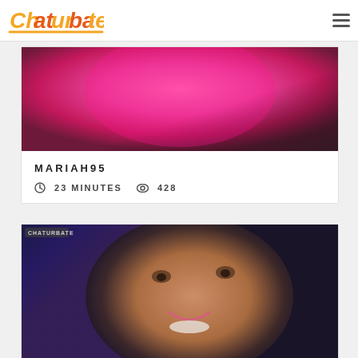[Figure (logo): Chaturbate logo in orange and red graffiti-style lettering with underline]
[Figure (photo): Close-up image showing bright pink/magenta fabric or clothing against dark background]
MARIAH95
23 MINUTES   428
[Figure (photo): Close-up portrait of a smiling young woman with brown hair and pink lipstick, Chaturbate watermark visible in top-left corner]